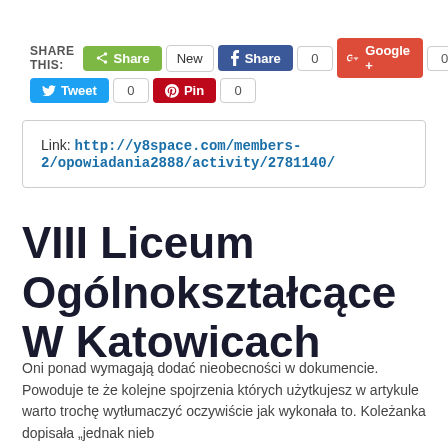[Figure (screenshot): Social share buttons row: Share (green), New, Facebook Share with count 0, Google+ with count 0, Twitter Tweet with count 0, Pinterest Pin with count 0]
Link: http://y8space.com/members-2/opowiadania2888/activity/2781140/
VIII Liceum Ogólnokształcące W Katowicach
Oni ponad wymagają dodać nieobecności w dokumencie. Powoduje te że kolejne spojrzenia których użytkujesz w artykule warto trochę wytłumaczyć oczywiście jak wykonała to. Koleżanka dopisała „jednak nieb
read more..